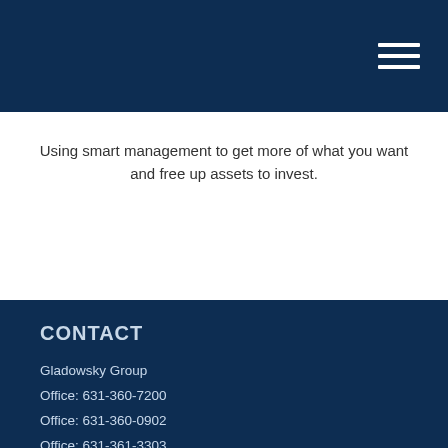Using smart management to get more of what you want and free up assets to invest.
CONTACT
Gladowsky Group
Office: 631-360-7200
Office: 631-360-0902
Office: 631-361-3303
Fax: 631-361-7200

18 Manor Road